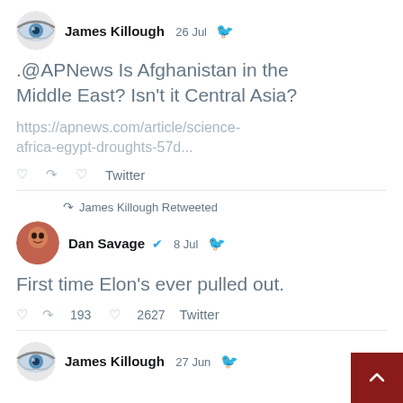[Figure (screenshot): Twitter avatar for James Killough - stylized eye image]
James Killough  26 Jul
.@APNews Is Afghanistan in the Middle East? Isn't it Central Asia?
https://apnews.com/article/science-africa-egypt-droughts-57d...
Twitter
James Killough Retweeted
[Figure (screenshot): Twitter avatar for Dan Savage - photo of person]
Dan Savage  8 Jul
First time Elon's ever pulled out.
193  2627  Twitter
[Figure (screenshot): Twitter avatar for James Killough - stylized eye image]
James Killough  27 Jun